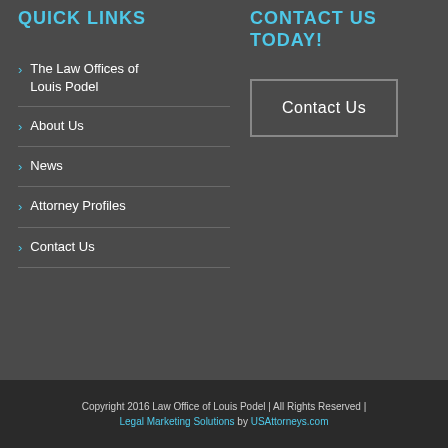QUICK LINKS
The Law Offices of Louis Podel
About Us
News
Attorney Profiles
Contact Us
CONTACT US TODAY!
Contact Us
Copyright 2016 Law Office of Louis Podel | All Rights Reserved | Legal Marketing Solutions by USAttorneys.com